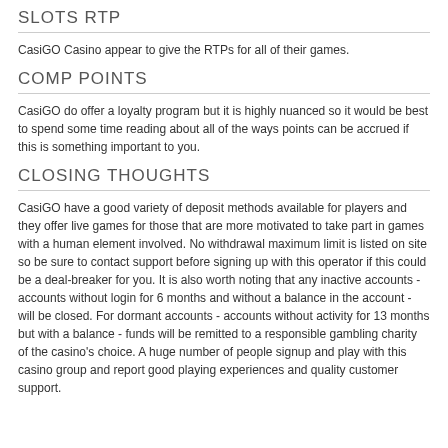SLOTS RTP
CasiGO Casino appear to give the RTPs for all of their games.
COMP POINTS
CasiGO do offer a loyalty program but it is highly nuanced so it would be best to spend some time reading about all of the ways points can be accrued if this is something important to you.
CLOSING THOUGHTS
CasiGO have a good variety of deposit methods available for players and they offer live games for those that are more motivated to take part in games with a human element involved. No withdrawal maximum limit is listed on site so be sure to contact support before signing up with this operator if this could be a deal-breaker for you. It is also worth noting that any inactive accounts - accounts without login for 6 months and without a balance in the account - will be closed. For dormant accounts - accounts without activity for 13 months but with a balance - funds will be remitted to a responsible gambling charity of the casino's choice. A huge number of people signup and play with this casino group and report good playing experiences and quality customer support.